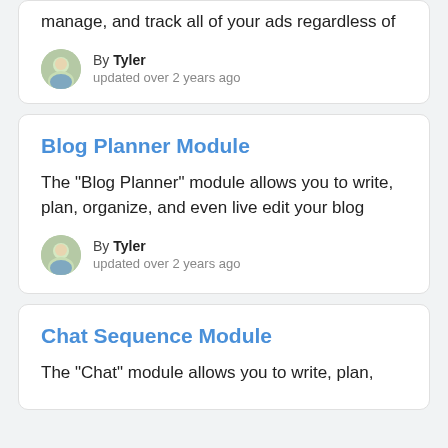manage, and track all of your ads regardless of
By Tyler
updated over 2 years ago
Blog Planner Module
The "Blog Planner" module allows you to write, plan, organize, and even live edit your blog
By Tyler
updated over 2 years ago
Chat Sequence Module
The "Chat" module allows you to write, plan,